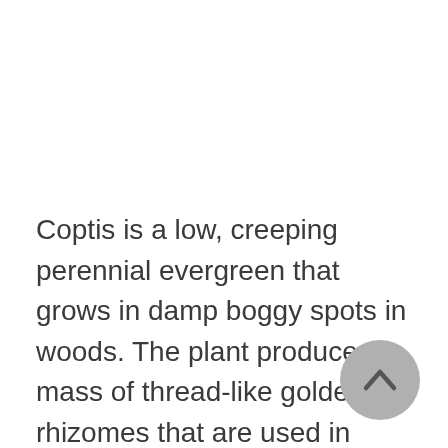Coptis is a low, creeping perennial evergreen that grows in damp boggy spots in woods. The plant produces a mass of thread-like golden rhizomes that are used in healing. C. chinensis is native to the cooler parts of Asia and is extensively cultivated in Szechwan province in China. C. trifolia is native to eastern North America as far south as the mountains of Tennessee. Other